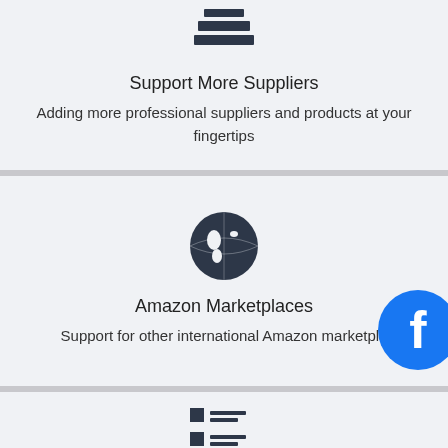[Figure (illustration): Stacked layers/books icon representing suppliers]
Support More Suppliers
Adding more professional suppliers and products at your fingertips
[Figure (illustration): Globe/world icon representing international marketplaces]
Amazon Marketplaces
Support for other international Amazon marketplaces
[Figure (logo): Facebook circular logo button]
[Figure (illustration): List/checklist icon at bottom of page]